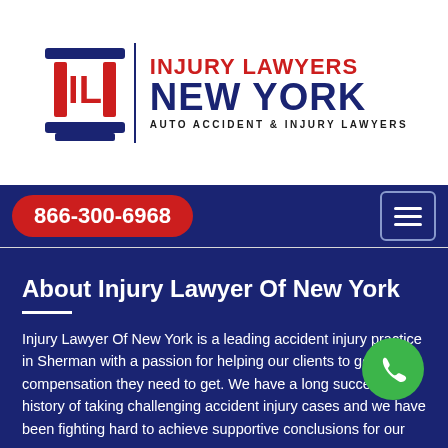[Figure (logo): Injury Lawyers New York logo with red IL letters and blue column icon, vertical divider, and text 'INJURY LAWYERS NEW YORK AUTO ACCIDENT & INJURY LAWYERS']
866-300-6968
About Injury Lawyer Of New York
Injury Lawyer Of New York is a leading accident injury practice in Sherman with a passion for helping our clients to get the compensation they need to get. We have a long successful history of taking challenging accident injury cases and we have been fighting hard to achieve supportive conclusions for our